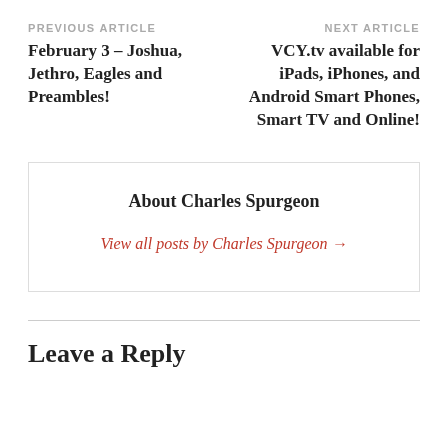PREVIOUS ARTICLE
February 3 – Joshua, Jethro, Eagles and Preambles!
NEXT ARTICLE
VCY.tv available for iPads, iPhones, and Android Smart Phones, Smart TV and Online!
About Charles Spurgeon
View all posts by Charles Spurgeon →
Leave a Reply